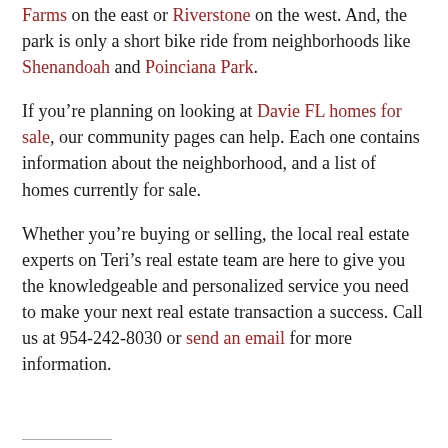Farms on the east or Riverstone on the west.  And, the park is only a short bike ride from neighborhoods like Shenandoah and Poinciana Park.
If you're planning on looking at Davie FL homes for sale, our community pages can help.  Each one contains information about the neighborhood, and a list of homes currently for sale.
Whether you're buying or selling, the local real estate experts on Teri's real estate team are here to give you the knowledgeable and personalized service you need to make your next real estate transaction a success.  Call us at 954-242-8030 or send an email for more information.